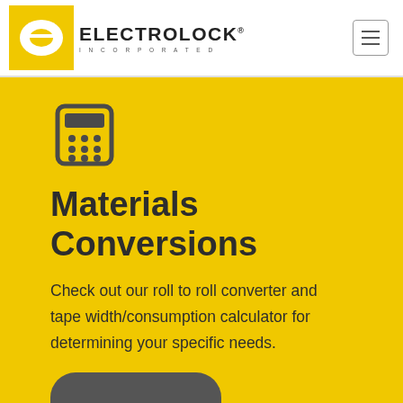ELECTROLOCK INCORPORATED
[Figure (logo): Electrolock Incorporated logo with yellow square containing a stylized 'E' emblem and bold company name text]
[Figure (illustration): Calculator icon in dark grey, showing a rounded rectangle calculator with display and keypad dots]
Materials Conversions
Check out our roll to roll converter and tape width/consumption calculator for determining your specific needs.